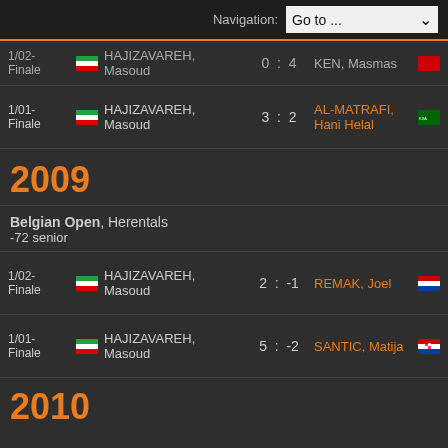Navigation: Go to ...
1/02-Finale  HAJIZAVAREH, Masoud  0 : 4  KEN, Masmas
| Round | Flag | Name | Score | Opponent | Flag |
| --- | --- | --- | --- | --- | --- |
| 1/01-Finale | IRI | HAJIZAVAREH, Masoud | 3 : 2 | AL-MATRAFI, Hani Helal | KSA |
2009
Belgian Open, Herentals
-72 senior
| Round | Flag | Name | Score | Opponent | Flag |
| --- | --- | --- | --- | --- | --- |
| 1/02-Finale | IRI | HAJIZAVAREH, Masoud | 2 : -1 | REMAK, Joel | NED |
| 1/01-Finale | IRI | HAJIZAVAREH, Masoud | 5 : -2 | SANTIC, Matija | CRO |
2010